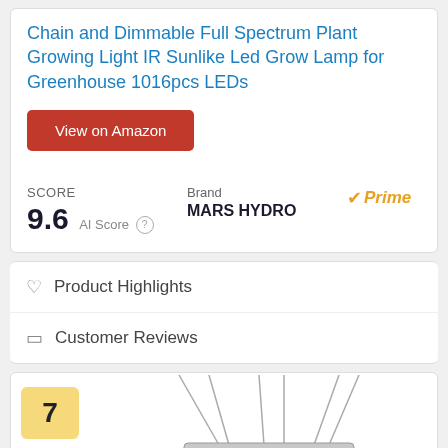Chain and Dimmable Full Spectrum Plant Growing Light IR Sunlike Led Grow Lamp for Greenhouse 1016pcs LEDs
View on Amazon
SCORE
9.6  AI Score
Brand
MARS HYDRO
Prime
♡  Product Highlights
□  Customer Reviews
7